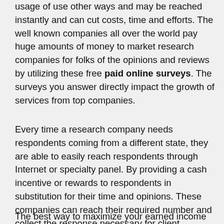usage of use other ways and may be reached instantly and can cut costs, time and efforts. The well known companies all over the world pay huge amounts of money to market research companies for folks of the opinions and reviews by utilizing these free paid online surveys. The surveys you answer directly impact the growth of services from top companies.
Every time a research company needs respondents coming from a different state, they are able to easily reach respondents through Internet or specialty panel. By providing a cash incentive or rewards to respondents in substitution for their time and opinions. These companies can reach their required number and collect the response necessary for client.
The best way to maximize your earned income from